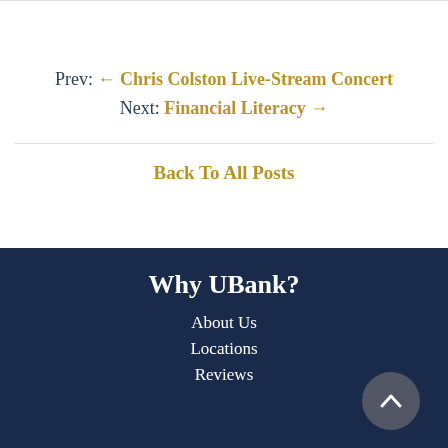Prev: ← Chris Colston Live-Stream Concert
Next: Financial Literacy →
Back To All Posts
Why UBank?
About Us
Locations
Reviews